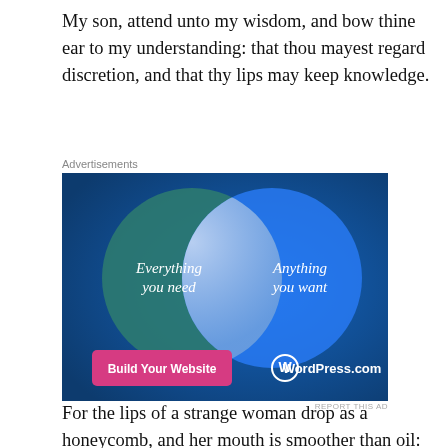My son, attend unto my wisdom, and bow thine ear to my understanding: that thou mayest regard discretion, and that thy lips may keep knowledge.
[Figure (illustration): WordPress.com advertisement showing a Venn diagram with two overlapping circles on a blue/teal background. Left circle labeled 'Everything you need', right circle labeled 'Anything you want'. Bottom left has a pink button 'Build Your Website', bottom right shows WordPress.com logo.]
REPORT THIS AD
For the lips of a strange woman drop as a honeycomb, and her mouth is smoother than oil: but her end is bitter as wormwood, sharp as a two-edged sword. Her feet go